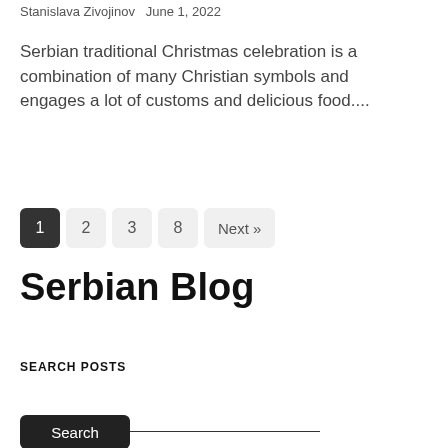Stanislava Zivojinov  June 1, 2022
Serbian traditional Christmas celebration is a combination of many Christian symbols and engages a lot of customs and delicious food....
1  2  3  8  Next »
Serbian Blog
SEARCH POSTS
Search